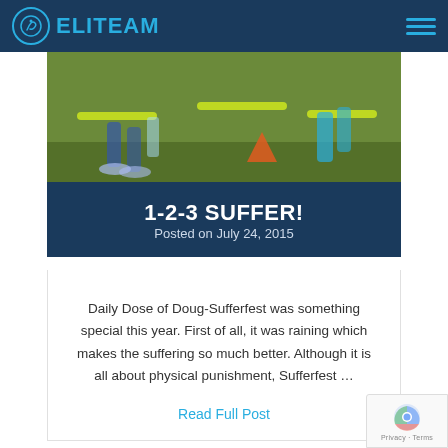ELITEAM
[Figure (photo): Athletes training outdoors with yellow agility hurdles on grass]
1-2-3 SUFFER!
Posted on July 24, 2015
Daily Dose of Doug-Sufferfest was something special this year.  First of all, it was raining which makes the suffering so much better. Although it is all about physical punishment, Sufferfest …
Read Full Post